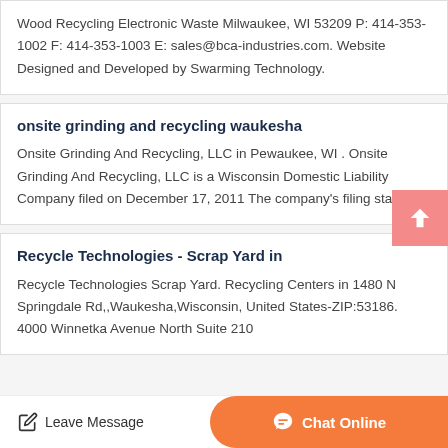Wood Recycling Electronic Waste Milwaukee, WI 53209 P: 414-353-1002 F: 414-353-1003 E: sales@bca-industries.com. Website Designed and Developed by Swarming Technology.
onsite grinding and recycling waukesha
Onsite Grinding And Recycling, LLC in Pewaukee, WI . Onsite Grinding And Recycling, LLC is a Wisconsin Domestic Liability Company filed on December 17, 2011 The company's filing statu…
Recycle Technologies - Scrap Yard in
Recycle Technologies Scrap Yard. Recycling Centers in 1480 N Springdale Rd,,Waukesha,Wisconsin, United States-ZIP:53186. 4000 Winnetka Avenue North Suite 210
Leave Message | Chat Online